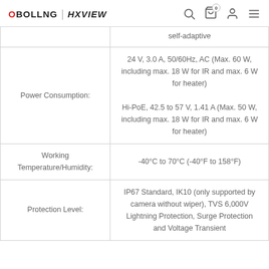OBOLLNG | HXVIEW
| Parameter | Value |
| --- | --- |
|  | self-adaptive |
| Power Consumption: | 24 V, 3.0 A, 50/60Hz, AC (Max. 60 W, including max. 18 W for IR and max. 6 W for heater)
Hi-PoE, 42.5 to 57 V, 1.41 A (Max. 50 W, including max. 18 W for IR and max. 6 W for heater) |
| Working Temperature/Humidity: | -40°C to 70°C (-40°F to 158°F) |
| Protection Level: | IP67 Standard, IK10 (only supported by camera without wiper), TVS 6,000V Lightning Protection, Surge Protection and Voltage Transient |